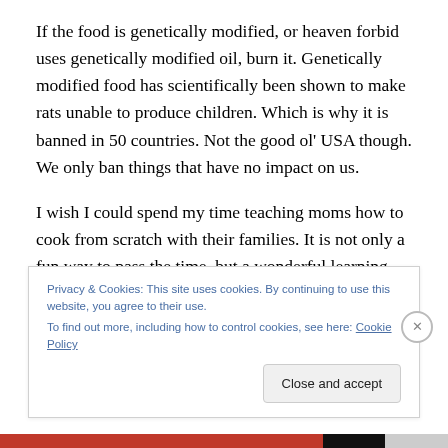If the food is genetically modified, or heaven forbid uses genetically modified oil, burn it. Genetically modified food has scientifically been shown to make rats unable to produce children. Which is why it is banned in 50 countries. Not the good ol' USA though. We only ban things that have no impact on us.
I wish I could spend my time teaching moms how to cook from scratch with their families. It is not only a fun way to pass the time, but a wonderful learning experience for everyone. Every sunday I would have classes where you
Privacy & Cookies: This site uses cookies. By continuing to use this website, you agree to their use.
To find out more, including how to control cookies, see here: Cookie Policy
Close and accept